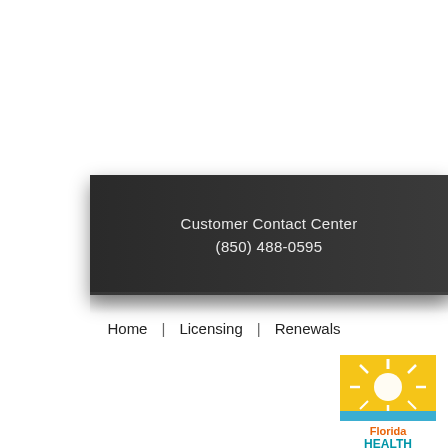Customer Contact Center
(850) 488-0595
Home | Licensing | Renewals
[Figure (logo): Florida Health logo — sun rays over horizon with text 'Florida HEALTH' in orange and teal colors]